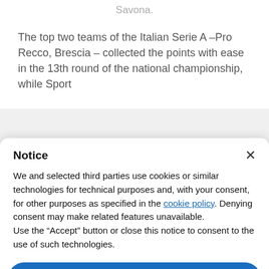Savona.
The top two teams of the Italian Serie A –Pro Recco, Brescia – collected the points with ease in the 13th round of the national championship, while Sport
Notice
We and selected third parties use cookies or similar technologies for technical purposes and, with your consent, for other purposes as specified in the cookie policy. Denying consent may make related features unavailable.
Use the "Accept" button or close this notice to consent to the use of such technologies.
Accept
Learn more and customize